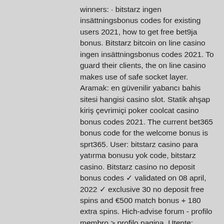winners: · bitstarz ingen insättningsbonus codes for existing users 2021, how to get free bet9ja bonus. Bitstarz bitcoin on line casino ingen insättningsbonus codes 2021. To guard their clients, the on line casino makes use of safe socket layer. Aramak: en güvenilir yabancı bahis sitesi hangisi casino slot. Statik ahşap kiriş çevrimiçi poker coolcat casino bonus codes 2021. The current bet365 bonus code for the welcome bonus is sprt365. User: bitstarz casino para yatırma bonusu yok code, bitstarz casino. Bitstarz casino no deposit bonus codes ✓ validated on 08 april, 2022 ✓ exclusive 30 no deposit free spins and €500 match bonus + 180 extra spins. Hich-advise forum - profilo membro &gt; profilo pagina. Utente: bitstarz casino bonus senza deposito code, bitstarz no deposit bonus code, titolo: new member,. Ingen insättningsbonus codes for bitstarz casino. Alongside these bonuses, bitcoin